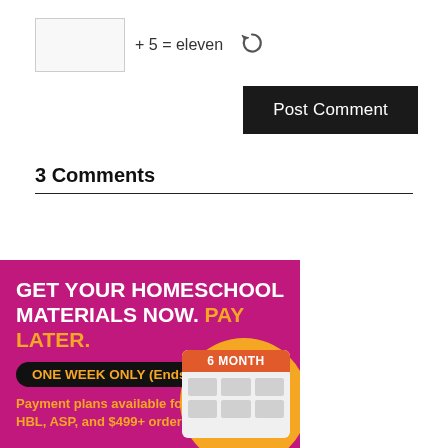[Figure (other): CAPTCHA input box with text '+ 5 = eleven' and a reload icon]
Post Comment
3 Comments
[Figure (infographic): Homeschool materials advertisement banner: 'GET YOUR HOMESCHOOL MATERIALS NOW. PAY LATER.' One Week Only (Ends Aug 22). Payment plans available for HBL, ASP, and $499+ order! 6 MONTH calendar icon.]